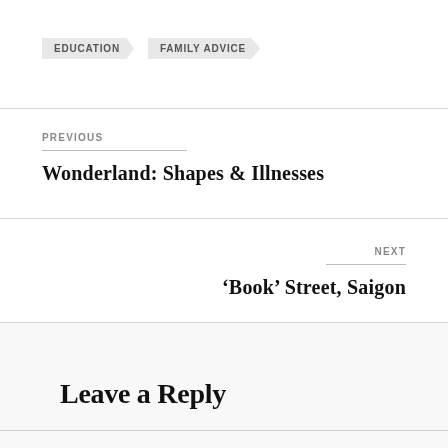EDUCATION
FAMILY ADVICE
PREVIOUS
Wonderland: Shapes & Illnesses
NEXT
‘Book’ Street, Saigon
Leave a Reply